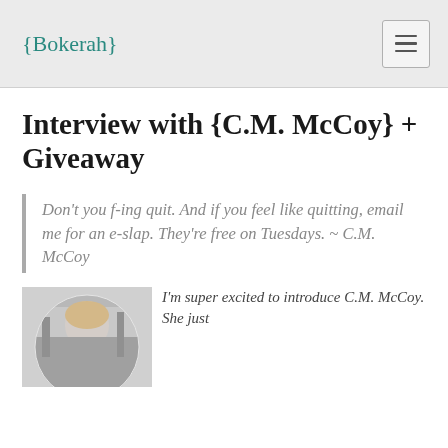{Bokerah}
Interview with {C.M. McCoy} + Giveaway
Don't you f-ing quit. And if you feel like quitting, email me for an e-slap. They're free on Tuesdays. ~ C.M. McCoy
[Figure (photo): Circular cropped black and white portrait photo of C.M. McCoy outdoors]
I'm super excited to introduce C.M. McCoy. She just